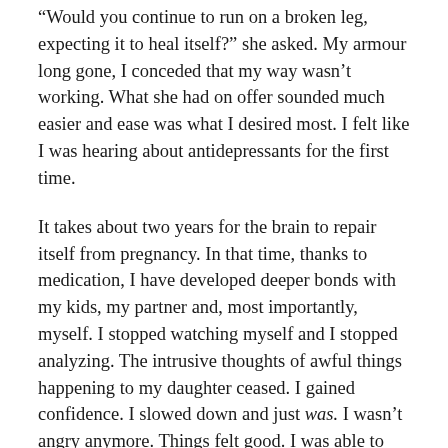“Would you continue to run on a broken leg, expecting it to heal itself?” she asked. My armour long gone, I conceded that my way wasn’t working. What she had on offer sounded much easier and ease was what I desired most. I felt like I was hearing about antidepressants for the first time.
It takes about two years for the brain to repair itself from pregnancy. In that time, thanks to medication, I have developed deeper bonds with my kids, my partner and, most importantly, myself. I stopped watching myself and I stopped analyzing. The intrusive thoughts of awful things happening to my daughter ceased. I gained confidence. I slowed down and just was. I wasn’t angry anymore. Things felt good. I was able to see that it wasn’t the things around me that needed fixing; it was the way I saw them from the inside that needed shifting.